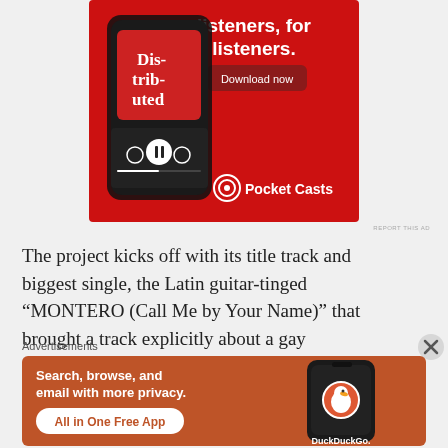[Figure (illustration): Pocket Casts advertisement on red background showing a smartphone with 'Distributed' podcast playing, and text 'listeners, for listeners.' with a 'Download now' button and Pocket Casts logo.]
REPORT THIS AD
The project kicks off with its title track and biggest single, the Latin guitar-tinged “MONTERO (Call Me by Your Name)” that brought a track explicitly about a gay
Advertisements
[Figure (illustration): DuckDuckGo advertisement on orange-brown background with text 'Search, browse, and email with more privacy.' and 'All in One Free App' button, with DuckDuckGo logo on a phone.]